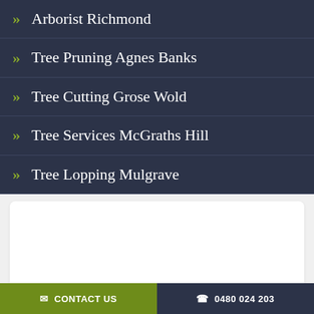Arborist Richmond
Tree Pruning Agnes Banks
Tree Cutting Grose Wold
Tree Services McGraths Hill
Tree Lopping Mulgrave
[Figure (screenshot): White card area on light grey background]
CONTACT US   0480 024 203